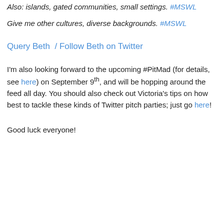Also: islands, gated communities, small settings. #MSWL
Give me other cultures, diverse backgrounds. #MSWL
Query Beth  /  Follow Beth on Twitter
I'm also looking forward to the upcoming #PitMad (for details, see here) on September 9th, and will be hopping around the feed all day. You should also check out Victoria's tips on how best to tackle these kinds of Twitter pitch parties; just go here!
Good luck everyone!